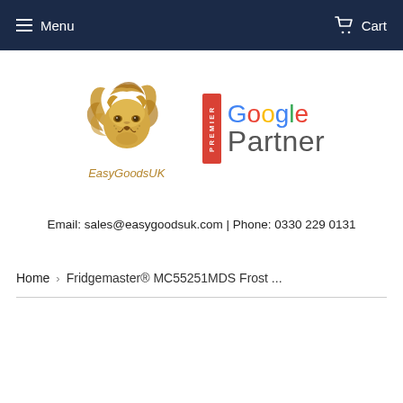Menu  Cart
[Figure (logo): EasyGoodsUK lion head logo with golden illustrated lion and italic brand name 'EasyGoodsUK' below]
[Figure (logo): Google Premier Partner badge with red vertical 'PREMIER' ribbon and 'Google Partner' text in Google colors]
Email: sales@easygoodsuk.com | Phone: 0330 229 0131
Home › Fridgemaster® MC55251MDS Frost ...